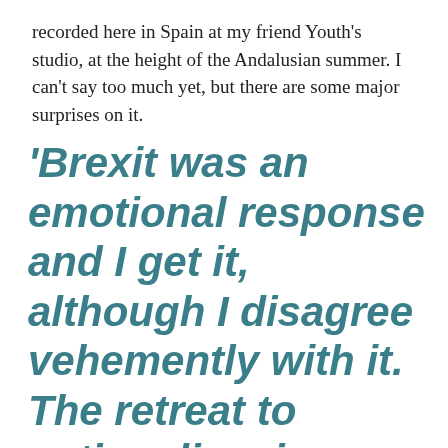recorded here in Spain at my friend Youth's studio, at the height of the Andalusian summer. I can't say too much yet, but there are some major surprises on it.
'Brexit was an emotional response and I get it, although I disagree vehemently with it. The retreat to nationalism is depressing and we have to